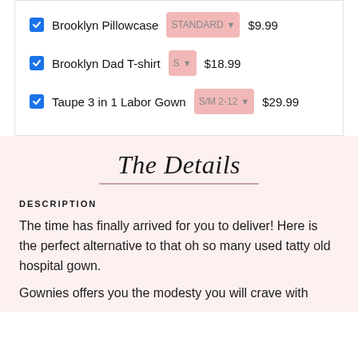Brooklyn Pillowcase STANDARD $9.99
Brooklyn Dad T-shirt S $18.99
Taupe 3 in 1 Labor Gown S/M 2-12 $29.99
The Details
DESCRIPTION
The time has finally arrived for you to deliver! Here is the perfect alternative to that oh so many used tatty old hospital gown.
Gownies offers you the modesty you will crave with